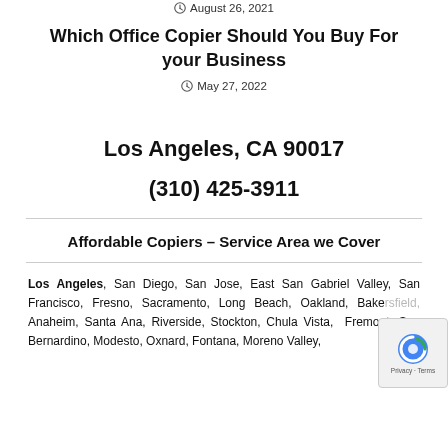August 26, 2021
Which Office Copier Should You Buy For your Business
May 27, 2022
Los Angeles, CA 90017
(310) 425-3911
Affordable Copiers – Service Area we Cover
Los Angeles, San Diego, San Jose, East San Gabriel Valley, San Francisco, Fresno, Sacramento, Long Beach, Oakland, Bakersfield, Anaheim, Santa Ana, Riverside, Stockton, Chula Vista, Fremont, San Bernardino, Modesto, Oxnard, Fontana, Moreno Valley,